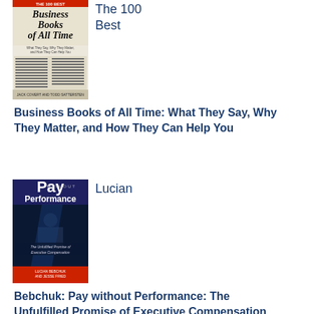[Figure (illustration): Book cover of 'The 100 Best Business Books of All Time']
The 100 Best
Business Books of All Time: What They Say, Why They Matter, and How They Can Help You
[Figure (illustration): Book cover of 'Pay without Performance: The Unfulfilled Promise of Executive Compensation' by Lucian Bebchuk]
Lucian
Bebchuk: Pay without Performance: The Unfulfilled Promise of Executive Compensation